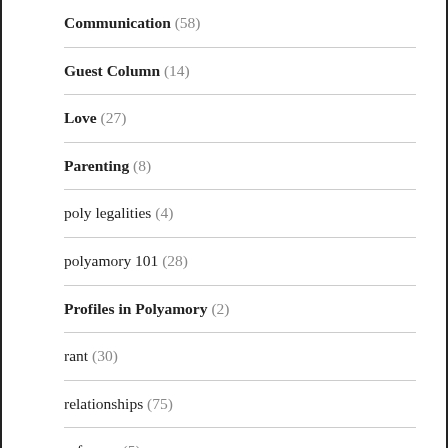Communication (58)
Guest Column (14)
Love (27)
Parenting (8)
poly legalities (4)
polyamory 101 (28)
Profiles in Polyamory (2)
rant (30)
relationships (75)
safer sex (5)
The Polyamory Community (55)